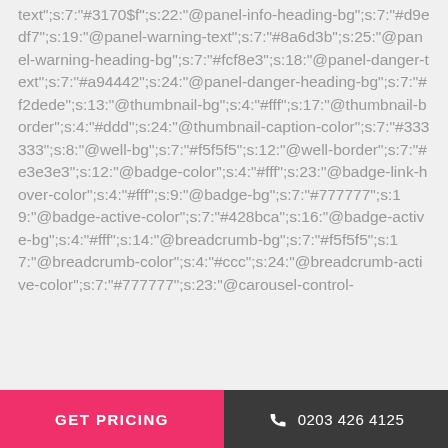text";s:7:"#3170$f";s:22:"@panel-info-heading-bg";s:7:"#d9edf7";s:19:"@panel-warning-text";s:7:"#8a6d3b";s:25:"@panel-warning-heading-bg";s:7:"#fcf8e3";s:18:"@panel-danger-text";s:7:"#a94442";s:24:"@panel-danger-heading-bg";s:7:"#f2dede";s:13:"@thumbnail-bg";s:4:"#fff";s:17:"@thumbnail-border";s:4:"#ddd";s:24:"@thumbnail-caption-color";s:7:"#333333";s:8:"@well-bg";s:7:"#f5f5f5";s:12:"@well-border";s:7:"#e3e3e3";s:12:"@badge-color";s:4:"#fff";s:23:"@badge-link-hover-color";s:4:"#fff";s:9:"@badge-bg";s:7:"#777777";s:19:"@badge-active-color";s:7:"#428bca";s:16:"@badge-active-bg";s:4:"#fff";s:14:"@breadcrumb-bg";s:7:"#f5f5f5";s:17:"@breadcrumb-color";s:4:"#ccc";s:24:"@breadcrumb-active-color";s:7:"#777777";s:23:"@carousel-control-
GET PRICING    0203 426 4125